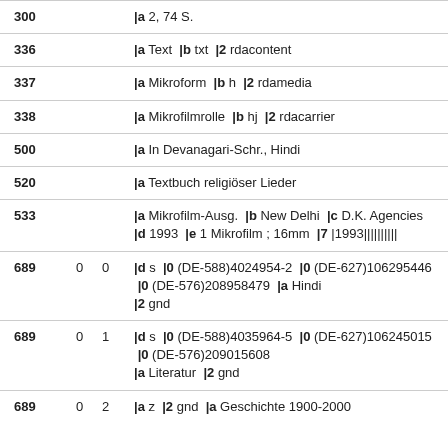| 300 |  |  | |a 2, 74 S. |
| 336 |  |  | |a Text  |b txt  |2 rdacontent |
| 337 |  |  | |a Mikroform  |b h  |2 rdamedia |
| 338 |  |  | |a Mikrofilmrolle  |b hj  |2 rdacarrier |
| 500 |  |  | |a In Devanagari-Schr., Hindi |
| 520 |  |  | |a Textbuch religiöser Lieder |
| 533 |  |  | |a Mikrofilm-Ausg.  |b New Delhi  |c D.K. Agencies  |d 1993  |e 1 Mikrofilm ; 16mm  |7 |1993|||||||||| |
| 689 | 0 | 0 | |d s  |0 (DE-588)4024954-2  |0 (DE-627)106295446  |0 (DE-576)208958479  |a Hindi  |2 gnd |
| 689 | 0 | 1 | |d s  |0 (DE-588)4035964-5  |0 (DE-627)106245015  |0 (DE-576)209015608  |a Literatur  |2 gnd |
| 689 | 0 | 2 | |a z  |2 gnd  |a Geschichte 1900-2000 |